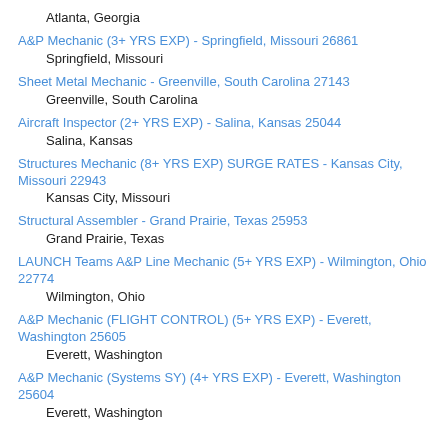Atlanta, Georgia
A&P Mechanic (3+ YRS EXP) - Springfield, Missouri 26861
    Springfield, Missouri
Sheet Metal Mechanic - Greenville, South Carolina 27143
    Greenville, South Carolina
Aircraft Inspector (2+ YRS EXP) - Salina, Kansas 25044
    Salina, Kansas
Structures Mechanic (8+ YRS EXP) SURGE RATES - Kansas City, Missouri 22943
    Kansas City, Missouri
Structural Assembler - Grand Prairie, Texas 25953
    Grand Prairie, Texas
LAUNCH Teams A&P Line Mechanic (5+ YRS EXP) - Wilmington, Ohio 22774
    Wilmington, Ohio
A&P Mechanic (FLIGHT CONTROL) (5+ YRS EXP) - Everett, Washington 25605
    Everett, Washington
A&P Mechanic (Systems SY) (4+ YRS EXP) - Everett, Washington 25604
    Everett, Washington